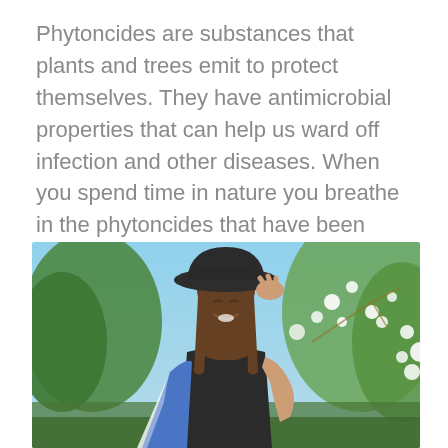Phytoncides are substances that plants and trees emit to protect themselves. They have antimicrobial properties that can help us ward off infection and other diseases. When you spend time in nature you breathe in the phytoncides that have been released and your body responds by producing more natural killer cells (a type of white blood cell that kills off tumour and virus-infected cells in the body).
[Figure (photo): A smiling woman wearing a black wide-brimmed hat and black top with a blue and white patterned wrap, standing outdoors among flowering white blossoms and green trees, laughing with her hand near her hat.]